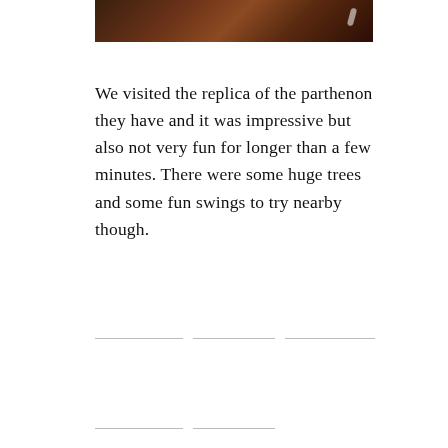[Figure (photo): Partial view of a dark brown wooden or bark-textured surface, likely a tree or wooden structure, with a small bright spot of light visible on the right side.]
We visited the replica of the parthenon they have and it was impressive but also not very fun for longer than a few minutes. There were some huge trees and some fun swings to try nearby though.